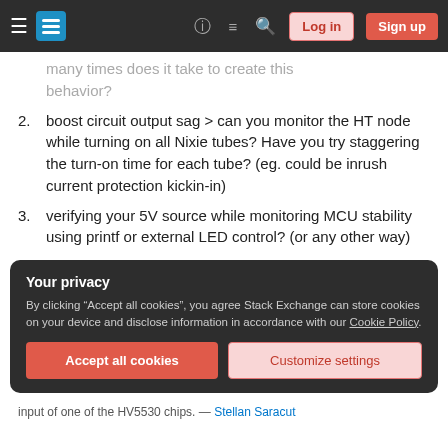Stack Exchange navigation bar with hamburger, logo, help, chat, search icons, Log in and Sign up buttons
many times does it take to create this behavior?
2. boost circuit output sag > can you monitor the HT node while turning on all Nixie tubes? Have you try staggering the turn-on time for each tube? (eg. could be inrush current protection kickin-in)
3. verifying your 5V source while monitoring MCU stability using printf or external LED control? (or any other way)
Your privacy
By clicking "Accept all cookies", you agree Stack Exchange can store cookies on your device and disclose information in accordance with our Cookie Policy.
Accept all cookies   Customize settings
input of one of the HV5530 chips. — Stellan Saracut